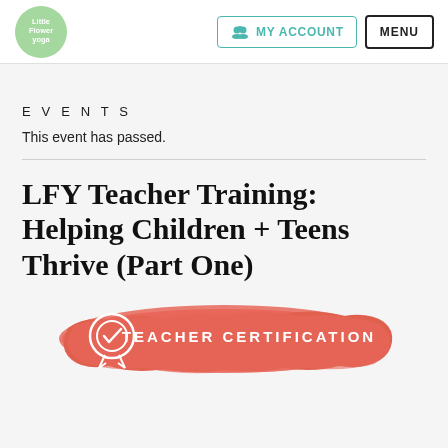Little Flower Yoga | MY ACCOUNT | MENU
EVENTS
This event has passed.
LFY Teacher Training: Helping Children + Teens Thrive (Part One)
[Figure (illustration): Red/coral brush-stroke banner with a certification badge icon on the left and text 'TEACHER CERTIFICATION' in white lettering]